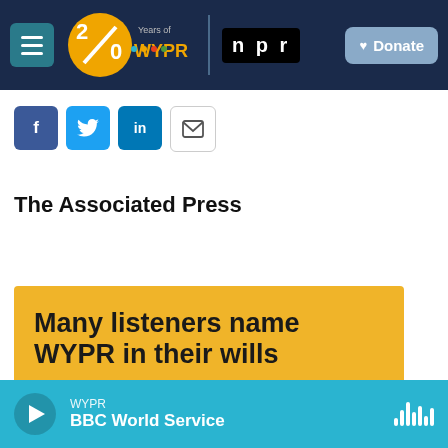WYPR 20 Years of WYPR | npr | Donate
[Figure (screenshot): Social sharing buttons: Facebook, Twitter, LinkedIn, Email]
The Associated Press
[Figure (infographic): Yellow banner: Many listeners name WYPR in their wills]
WYPR BBC World Service